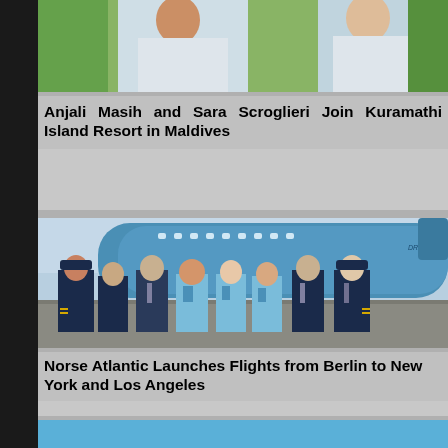[Figure (photo): Two people in white uniforms outdoors with green foliage background - Anjali Masih and Sara Scroglieri]
Anjali Masih and Sara Scroglieri Join Kuramathi Island Resort in Maldives
[Figure (photo): Group of airline crew members in navy and light blue uniforms standing in front of a Dreamliner aircraft on a tarmac. Norse Atlantic Airways crew.]
Norse Atlantic Launches Flights from Berlin to New York and Los Angeles
[Figure (photo): Partial view of a blue background element - bottom card strip]